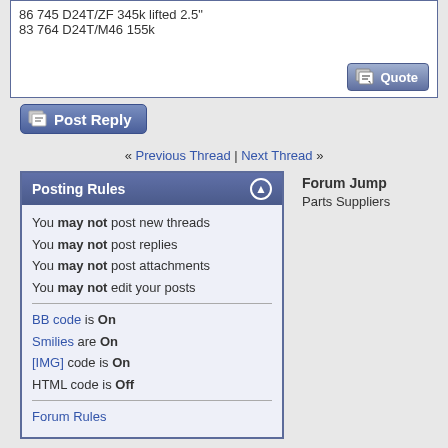86 745 D24T/ZF 345k lifted 2.5"
83 764 D24T/M46 155k
[Figure (screenshot): Quote button with pencil/paper icon]
[Figure (screenshot): Post Reply button with pencil/paper icon]
« Previous Thread | Next Thread »
Posting Rules
You may not post new threads
You may not post replies
You may not post attachments
You may not edit your posts
BB code is On
Smilies are On
[IMG] code is On
HTML code is Off
Forum Rules
Forum Jump
Parts Suppliers
All times are GMT -8. The time now is 09:58 PM.
Contact Us - The Volvo Diesel Forum - Archive - Top
Powered by vBulletin® Version 3.8.10
Copyright ©2000 - 2022, vBulletin Solutions, Inc.